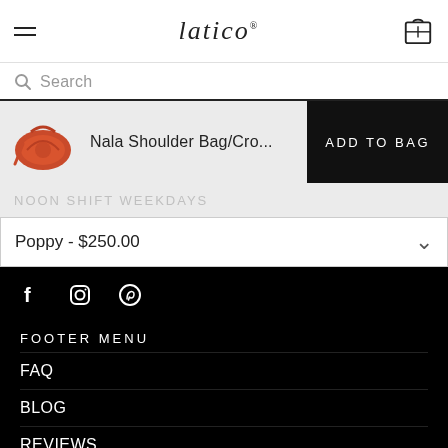latico
Search
Nala Shoulder Bag/Cro... ADD TO BAG
NOON SHIFT WEEKDAYS
Poppy - $250.00
FOOTER MENU
FAQ
BLOG
REVIEWS